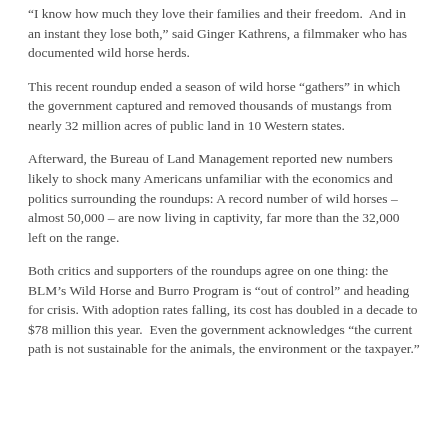“I know how much they love their families and their freedom.  And in an instant they lose both,” said Ginger Kathrens, a filmmaker who has documented wild horse herds.
This recent roundup ended a season of wild horse “gathers” in which the government captured and removed thousands of mustangs from nearly 32 million acres of public land in 10 Western states.
Afterward, the Bureau of Land Management reported new numbers likely to shock many Americans unfamiliar with the economics and politics surrounding the roundups: A record number of wild horses – almost 50,000 – are now living in captivity, far more than the 32,000 left on the range.
Both critics and supporters of the roundups agree on one thing: the BLM’s Wild Horse and Burro Program is “out of control” and heading for crisis. With adoption rates falling, its cost has doubled in a decade to $78 million this year.  Even the government acknowledges “the current path is not sustainable for the animals, the environment or the taxpayer.”